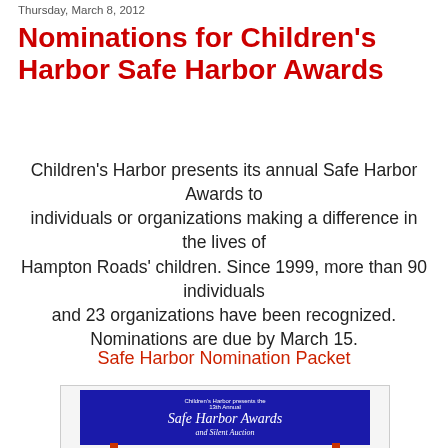Thursday, March 8, 2012
Nominations for Children's Harbor Safe Harbor Awards
Children's Harbor presents its annual Safe Harbor Awards to individuals or organizations making a difference in the lives of Hampton Roads' children. Since 1999, more than 90 individuals and 23 organizations have been recognized. Nominations are due by March 15.
Safe Harbor Nomination Packet
[Figure (photo): Banner image for Children's Harbor 13th Annual Safe Harbor Awards and Silent Auction event, shown on a blue background with red support legs visible at the bottom.]